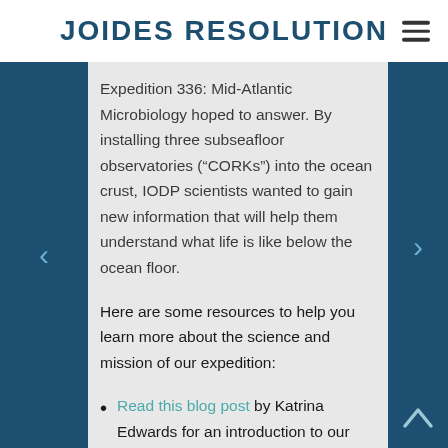JOIDES RESOLUTION
Expedition 336: Mid-Atlantic Microbiology hoped to answer. By installing three subseafloor observatories (“CORKs”) into the ocean crust, IODP scientists wanted to gain new information that will help them understand what life is like below the ocean floor.
Here are some resources to help you learn more about the science and mission of our expedition:
Read this blog post by Katrina Edwards for an introduction to our expedition and an